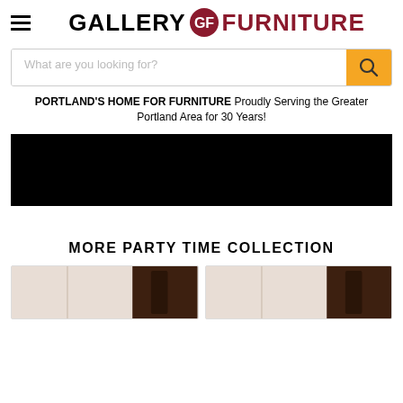GALLERY FURNITURE
What are you looking for?
PORTLAND'S HOME FOR FURNITURE Proudly Serving the Greater Portland Area for 30 Years!
[Figure (photo): Black banner image area]
MORE PARTY TIME COLLECTION
[Figure (photo): Product card with curtains/furniture image - left]
[Figure (photo): Product card with curtains/furniture image - right]